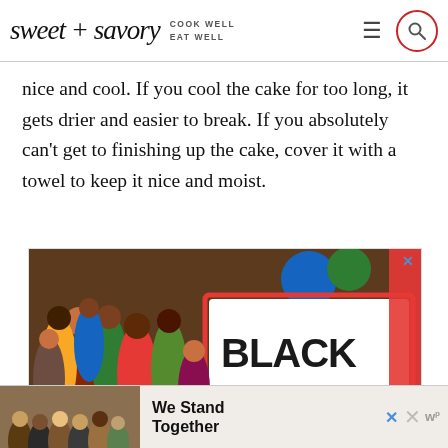sweet + savory COOK WELL EAT WELL
nice and cool. If you cool the cake for too long, it gets drier and easier to break. If you absolutely can't get to finishing up the cake, cover it with a towel to keep it nice and moist.
[Figure (illustration): Advertisement showing a colorful illustration of diverse people gathered together, with a sign reading 'BLACK LIVES' in bold handwritten text. A close button (X) appears in the top right corner.]
[Figure (photo): Bottom banner advertisement showing a group of diverse people with arms around each other seen from behind, with text 'We Stand Together' in bold. Includes close buttons and a 'w' logo.]